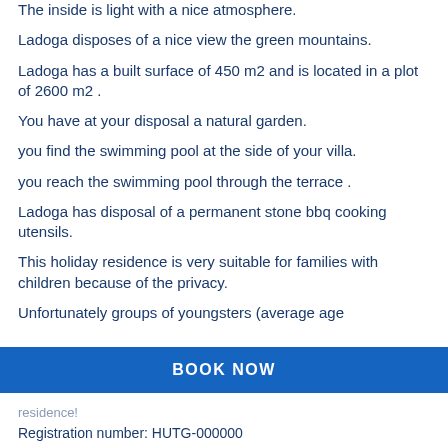The inside is light with a nice atmosphere.
Ladoga disposes of a nice view the green mountains.
Ladoga has a built surface of 450 m2 and is located in a plot of 2600 m2 .
You have at your disposal a natural garden.
you find the swimming pool at the side of your villa.
you reach the swimming pool through the terrace .
Ladoga has disposal of a permanent stone bbq cooking utensils.
This holiday residence is very suitable for families with children because of the privacy.
Unfortunately groups of youngsters (average age
residence!
Registration number: HUTG-000000